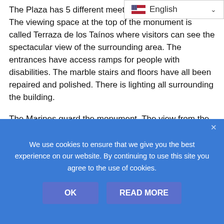The Plaza has 5 different meeting [rooms for meeting]. The viewing space at the top of the monument is called Terraza de los Taínos where visitors can see the spectacular view of the surrounding area. The entrances have access ramps for people with disabilities. The marble stairs and floors have all been repaired and polished. There is lighting all surrounding the building.
The Marines guard the monument. The view from the top of the structure shows the entrance to Rio Ozama and the Caribbean Sea. You can also see much of the Colonial City.
[Figure (photo): Partial photo of what appears to be a stone or marble ceiling/interior architectural detail, partially obscured by the cookie consent banner.]
We use cookies to ensure that we give you the best experience on our website. By continuing to use this site you agree to the use of cookies.